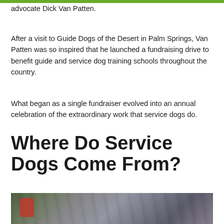advocate Dick Van Patten.
After a visit to Guide Dogs of the Desert in Palm Springs, Van Patten was so inspired that he launched a fundraising drive to benefit guide and service dog training schools throughout the country.
What began as a single fundraiser evolved into an annual celebration of the extraordinary work that service dogs do.
Where Do Service Dogs Come From?
[Figure (photo): Blurred motion photo of people walking in a busy crowd, one person visible with a red backpack, possibly with a service dog]